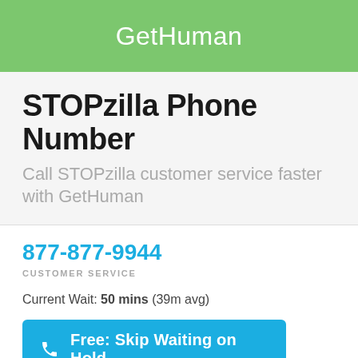GetHuman
STOPzilla Phone Number
Call STOPzilla customer service faster with GetHuman
877-877-9944
CUSTOMER SERVICE
Current Wait: 50 mins (39m avg)
Free: Skip Waiting on Hold